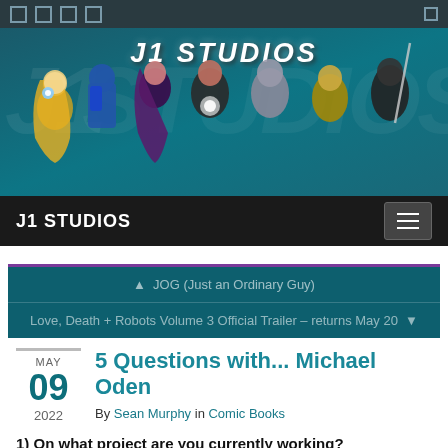J1 STUDIOS
[Figure (illustration): J1 Studios banner with illustrated comic characters including a blonde female hero, blue armored robot, purple-haired female, dark-skinned female in teal, silver armored figure, cat-person in yellow, and hooded figure with sword]
J1 STUDIOS
🔔 JOG (Just an Ordinary Guy)
Love, Death + Robots Volume 3 Official Trailer – returns May 20 🔔
MAY 09 2022
5 Questions with... Michael Oden
By Sean Murphy in Comic Books
1) On what project are you currently working?
Currently, I am finishing production on our Historical Satire